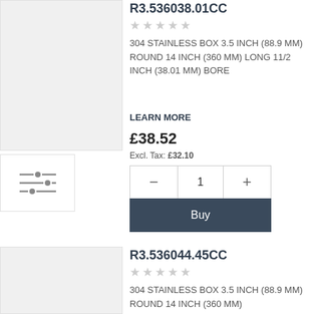[Figure (photo): Product image placeholder, light gray background]
R3.536038.01CC
★★★★★ (empty stars rating)
304 STAINLESS BOX 3.5 INCH (88.9 MM) ROUND 14 INCH (360 MM) LONG 11/2 INCH (38.01 MM) BORE
LEARN MORE
£38.52
Excl. Tax: £32.10
Quantity: 1, minus and plus buttons
Buy
[Figure (photo): Product image placeholder, light gray background]
R3.536044.45CC
★★★★★ (empty stars rating)
304 STAINLESS BOX 3.5 INCH (88.9 MM) ROUND 14 INCH (360 MM)